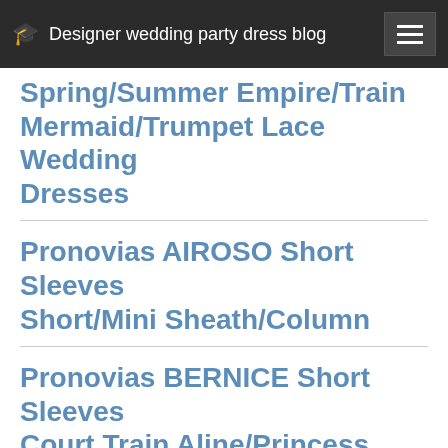Designer wedding party dress blog
Spring/Summer Empire/Train Mermaid/Trumpet Lace Wedding Dresses
Pronovias AIROSO Short Sleeves Short/Mini Sheath/Column
Pronovias BERNICE Short Sleeves Court Train Aline/Princess
Nicole Spose Collection COLET ELIANA COAB15235IV 2015